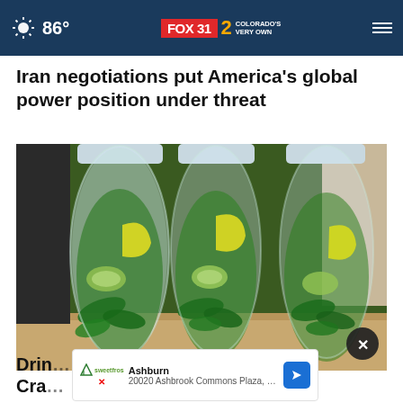86° FOX 31 2 COLORADO'S VERY OWN
Iran negotiations put America's global power position under threat
[Figure (photo): Three clear plastic water bottles filled with water, cucumber slices, lemon slices, and mint leaves, sitting on a granite countertop with kitchen appliances in the background.]
Drin... ke Cra...